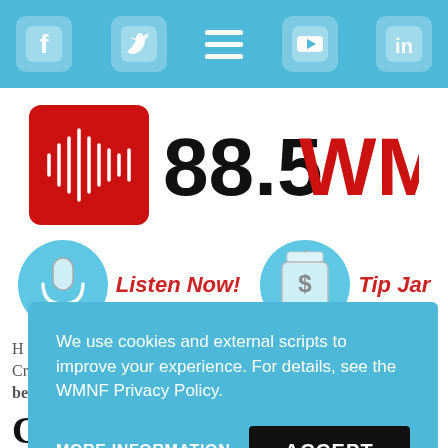[Figure (screenshot): Top social media navigation bar with Facebook, Twitter, hamburger menu, YouTube, and LinkedIn icons on a light blue background]
[Figure (logo): 88.5 WMNF radio station logo with red soundwave graphic and bold red WMNF text]
[Figure (infographic): Listen Now button with microphone icon in blue circle and red italic text, and Tip Jar button with mason jar icon in blue circle and red italic text]
Now Playing:
playlist ->
We use cookies and external scripts to improve your experience. For details, see the WMNF Privacy Policy.
MORE INFORMATION
ACCEPT
CAIR: man who